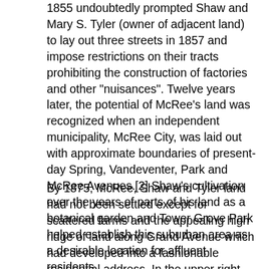1855 undoubtedly prompted Shaw and Mary S. Tyler (owner of adjacent land) to lay out three streets in 1857 and impose restrictions on their tracts prohibiting the construction of factories and other "nuisances". Twelve years later, the potential of McRee's land was recognized when an independent municipality, McRee City, was laid out with approximate boundaries of present-day Spring, Vandeventer, Park and McRee Avenues.[2] Shaw's cultivation over the years of parts of his land as a botanical garden and Tower Grove Park helped establish this suburban area as a desirable location for affluent residents.
By 1875, McRee, Shaw and Tyler land had not been settled except for scattered farms and the appealing high ridge of land along Grand Avenue which had developed into a fashionable residential address. In the upper right-hand corner of Plate #67 from